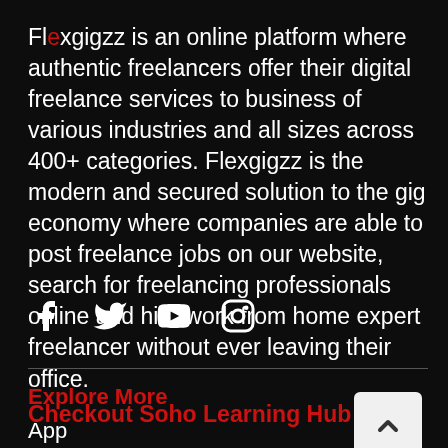Flexgigzz is an online platform where authentic freelancers offer their digital freelance services to business of various industries and all sizes across 400+ categories. Flexgigzz is the modern and secured solution to the gig economy where companies are able to post freelance jobs on our website, search for freelancing professionals online and hire work from home expert freelancer without ever leaving their office. Checkout Soho Learning Hub
[Figure (other): Social media icons: Facebook, Twitter, YouTube, Instagram]
Explore More
App
For Agency